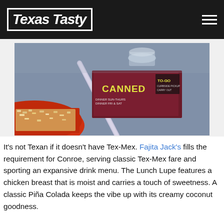Texas Tasty
[Figure (photo): Restaurant table top showing a red bowl of rice, a straw, and a menu/flyer reading 'CANNED' and 'TO-GO', with a glass visible in the background.]
It's not Texan if it doesn't have Tex-Mex. Fajita Jack's fills the requirement for Conroe, serving classic Tex-Mex fare and sporting an expansive drink menu. The Lunch Lupe features a chicken breast that is moist and carries a touch of sweetness. A classic Piña Colada keeps the vibe up with its creamy coconut goodness.